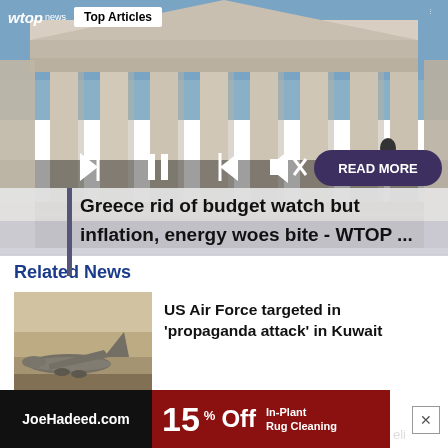wtop news  Top Articles
[Figure (photo): Greek/neoclassical building with large columns, viewed from below at an angle, with bright sky in background. Media player controls visible (previous, pause, next, mute). READ MORE button in dark purple/navy rounded rectangle at bottom right.]
Greece rid of budget watch but inflation, energy woes bite - WTOP ...
Related News
[Figure (photo): Military cargo aircraft (appears to be C-17) on a hazy/dusty background, viewed from slight angle showing nose and engines.]
US Air Force targeted in 'propaganda attack' in Kuwait
[Figure (infographic): Advertisement banner: JoeHadeed.com 15% Off In-Plant Rug Cleaning]